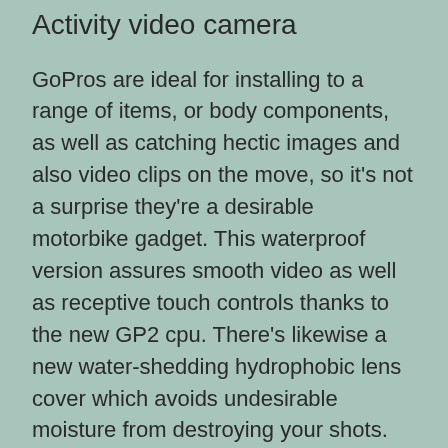Activity video camera
GoPros are ideal for installing to a range of items, or body components, as well as catching hectic images and also video clips on the move, so it's not a surprise they're a desirable motorbike gadget. This waterproof version assures smooth video as well as receptive touch controls thanks to the new GP2 cpu. There's likewise a new water-shedding hydrophobic lens cover which avoids undesirable moisture from destroying your shots.
You can get the…